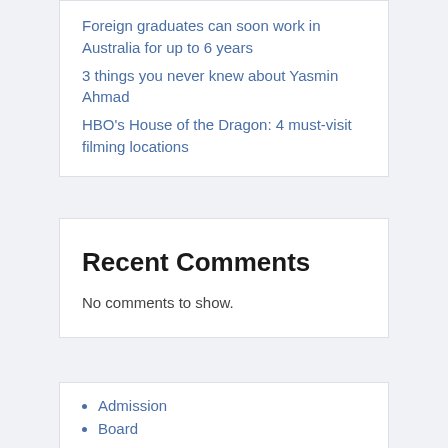Foreign graduates can soon work in Australia for up to 6 years
3 things you never knew about Yasmin Ahmad
HBO's House of the Dragon: 4 must-visit filming locations
Recent Comments
No comments to show.
Admission
Board